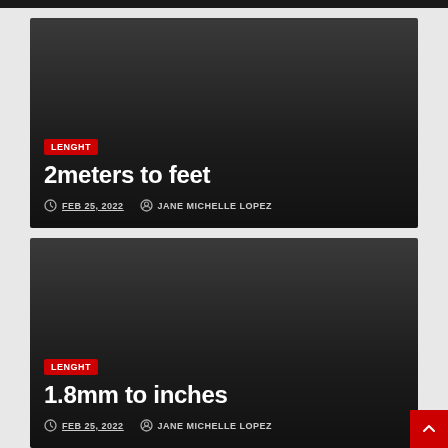[Figure (screenshot): Dark card with LENGHT tag, title '2meters to feet', date FEB 25 2022, author JANE MICHELLE LOPEZ]
2meters to feet
LENGHT | FEB 25, 2022 | JANE MICHELLE LOPEZ
[Figure (screenshot): Dark card with LENGHT tag, title '1.8mm to inches', date FEB 25 2022, author JANE MICHELLE LOPEZ]
1.8mm to inches
LENGHT | FEB 25, 2022 | JANE MICHELLE LOPEZ